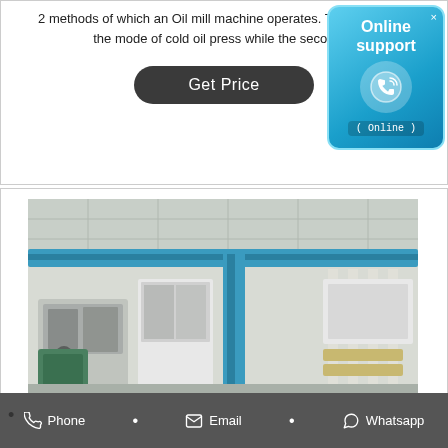2 methods of which an Oil mill machine operates. The first one is the mode of cold oil press while the second is
[Figure (other): Online support widget with phone icon, blue gradient background, showing 'Online support' text and '( Online )' badge]
[Figure (photo): Industrial oil mill factory interior with blue steel beams, pipes, processing equipment and machinery]
Phone • Email • Whatsapp